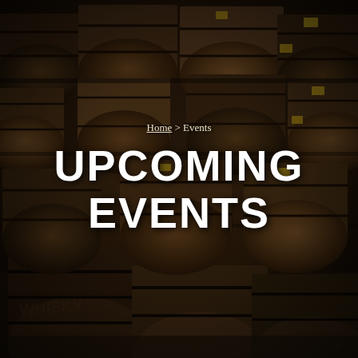[Figure (photo): Dark warehouse/cellar filled with wooden whisky barrels stacked horizontally, with dim warm lighting creating a moody atmosphere. Some barrels have yellow labels.]
Home > Events
UPCOMING EVENTS